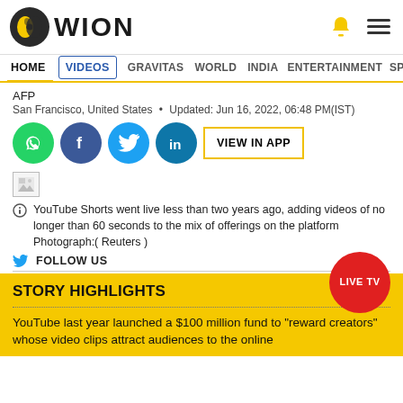WION
HOME  VIDEOS  GRAVITAS  WORLD  INDIA  ENTERTAINMENT  SPORTS
AFP
San Francisco, United States • Updated: Jun 16, 2022, 06:48 PM(IST)
[Figure (illustration): Social share buttons: WhatsApp, Facebook, Twitter, LinkedIn, and VIEW IN APP button]
[Figure (photo): Small broken image placeholder thumbnail]
YouTube Shorts went live less than two years ago, adding videos of no longer than 60 seconds to the mix of offerings on the platform Photograph:( Reuters )
FOLLOW US
STORY HIGHLIGHTS
YouTube last year launched a $100 million fund to "reward creators" whose video clips attract audiences to the online